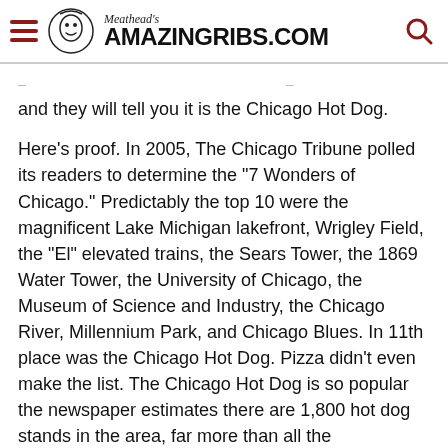Meathead's AmazingRibs.com
and they will tell you it is the Chicago Hot Dog.
Here's proof. In 2005, The Chicago Tribune polled its readers to determine the “7 Wonders of Chicago.” Predictably the top 10 were the magnificent Lake Michigan lakefront, Wrigley Field, the “El” elevated trains, the Sears Tower, the 1869 Water Tower, the University of Chicago, the Museum of Science and Industry, the Chicago River, Millennium Park, and Chicago Blues. In 11th place was the Chicago Hot Dog. Pizza didn’t even make the list. The Chicago Hot Dog is so popular the newspaper estimates there are 1,800 hot dog stands in the area, far more than all the